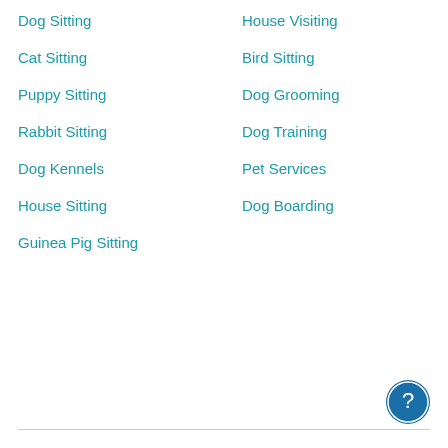Dog Sitting
House Visiting
Cat Sitting
Bird Sitting
Puppy Sitting
Dog Grooming
Rabbit Sitting
Dog Training
Dog Kennels
Pet Services
House Sitting
Dog Boarding
Guinea Pig Sitting